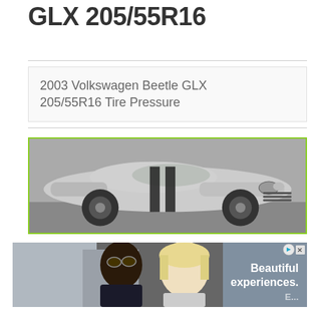GLX 205/55R16
2003 Volkswagen Beetle GLX 205/55R16 Tire Pressure
[Figure (photo): Silver sports car (Ford Mustang Shelby GT350 style) with black racing stripes, photographed from the front-right angle, shown in black and white tones with a green border frame.]
[Figure (photo): Advertisement banner showing two people (a man with sunglasses and a woman with blonde hair) in an outdoor setting, with text reading 'Beautiful experiences.' on the right side. Has ad indicator icons (play and close button) in the top right corner.]